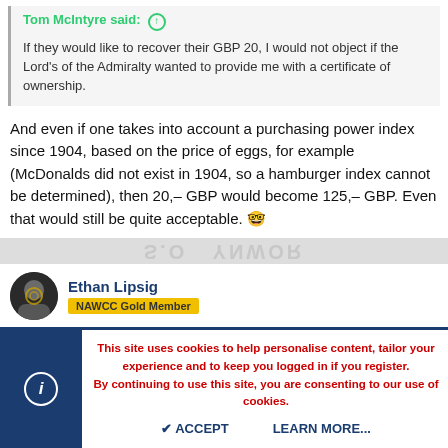Tom McIntyre said: ↑
If they would like to recover their GBP 20, I would not object if the Lord's of the Admiralty wanted to provide me with a certificate of ownership.
And even if one takes into account a purchasing power index since 1904, based on the price of eggs, for example (McDonalds did not exist in 1904, so a hamburger index cannot be determined), then 20,– GBP would become 125,– GBP. Even that would still be quite acceptable. 🤓
Ethan Lipsig
NAWCC Gold Member
This site uses cookies to help personalise content, tailor your experience and to keep you logged in if you register.
By continuing to use this site, you are consenting to our use of cookies.
ACCEPT   LEARN MORE...